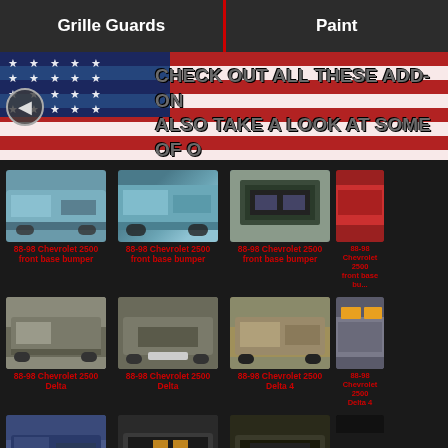Grille Guards | Paint
[Figure (screenshot): Banner with American flag background and text: CHECK OUT ALL THESE ADD-ONS ALSO TAKE A LOOK AT SOME OF O...]
[Figure (photo): 88-98 Chevrolet 2500 front base bumper - truck photo 1]
88-98 Chevrolet 2500 front base bumper
[Figure (photo): 88-98 Chevrolet 2500 front base bumper - truck photo 2]
88-98 Chevrolet 2500 front base bumper
[Figure (photo): 88-98 Chevrolet 2500 front base bumper - truck photo 3]
88-98 Chevrolet 2500 front base bumper
[Figure (photo): 88-98 Chevrolet 2500 front base bumper - truck photo 4 (partial)]
88-98 Chevrolet 2500 front base bu...
[Figure (photo): 88-98 Chevrolet 2500 Delta - truck photo 1]
88-98 Chevrolet 2500 Delta
[Figure (photo): 88-98 Chevrolet 2500 Delta - truck photo 2]
88-98 Chevrolet 2500 Delta
[Figure (photo): 88-98 Chevrolet 2500 Delta 4 - truck photo 3]
88-98 Chevrolet 2500 Delta 4
[Figure (photo): 88-98 Chevrolet 2500 Delta 4 - truck photo 4 (partial)]
88-98 Chevrolet 2500 Delta 4
[Figure (photo): 88-98 Chevrolet 2500 Delta 8 - truck photo 1]
88-98 Chevrolet 2500 Delta 8
[Figure (photo): 88-98 Chevrolet 2500 Delta 8 - truck photo 2]
88-98 Chevrolet 2500 Delta 8
[Figure (photo): 88-98 Chevrolet 2500 Delta 8 - truck photo 3]
88-98 Chevrolet 2500 Delta 8
[Figure (photo): 88-98 Chevrolet 2500 Delta 8 - truck photo 4 (partial)]
88-98 Chevrolet 2500 Delta 8
[Figure (photo): Bottom row partial - truck grille photo 1]
[Figure (photo): Bottom row partial - truck photo 2]
[Figure (photo): Bottom row partial - truck photo 3]
[Figure (photo): Bottom row partial - truck photo 4]